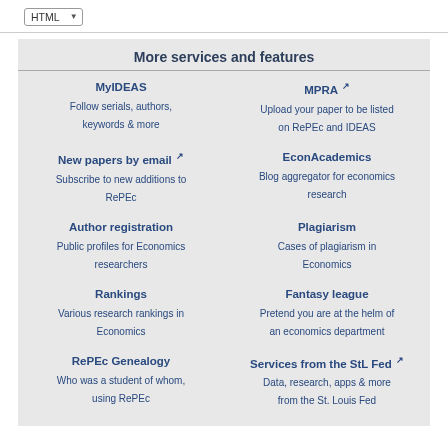More services and features
MyIDEAS
Follow serials, authors, keywords & more
MPRA
Upload your paper to be listed on RePEc and IDEAS
New papers by email
Subscribe to new additions to RePEc
EconAcademics
Blog aggregator for economics research
Author registration
Public profiles for Economics researchers
Plagiarism
Cases of plagiarism in Economics
Rankings
Various research rankings in Economics
Fantasy league
Pretend you are at the helm of an economics department
RePEc Genealogy
Who was a student of whom, using RePEc
Services from the StL Fed
Data, research, apps & more from the St. Louis Fed